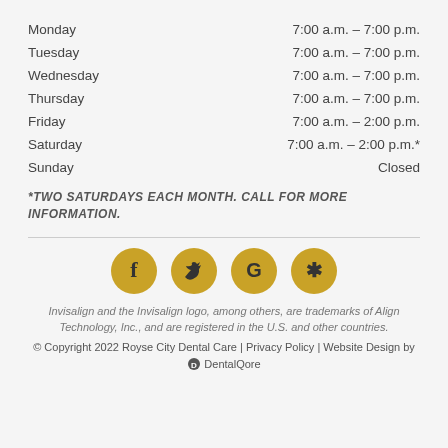Monday  7:00 a.m. – 7:00 p.m.
Tuesday  7:00 a.m. – 7:00 p.m.
Wednesday  7:00 a.m. – 7:00 p.m.
Thursday  7:00 a.m. – 7:00 p.m.
Friday  7:00 a.m. – 2:00 p.m.
Saturday  7:00 a.m. – 2:00 p.m.*
Sunday  Closed
*TWO SATURDAYS EACH MONTH. CALL FOR MORE INFORMATION.
[Figure (other): Social media icon buttons: Facebook, Twitter, Google, Yelp]
Invisalign and the Invisalign logo, among others, are trademarks of Align Technology, Inc., and are registered in the U.S. and other countries.
© Copyright 2022 Royse City Dental Care | Privacy Policy | Website Design by DentalQore